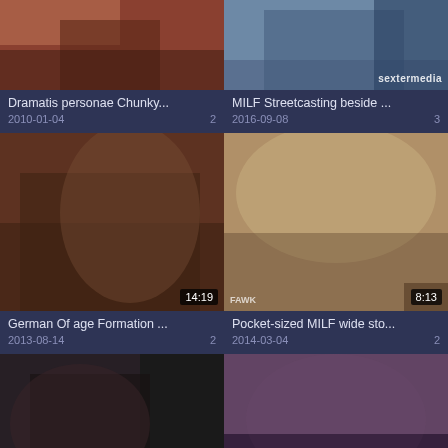[Figure (screenshot): Video thumbnail grid showing 6 video cards in a 2-column layout with titles, dates, and view counts]
Dramatis personae Chunky...
2010-01-04  2
MILF Streetcasting beside ...
2016-09-08  3
German Of age Formation ...
2013-08-14  2
Pocket-sized MILF wide sto...
2014-03-04  2